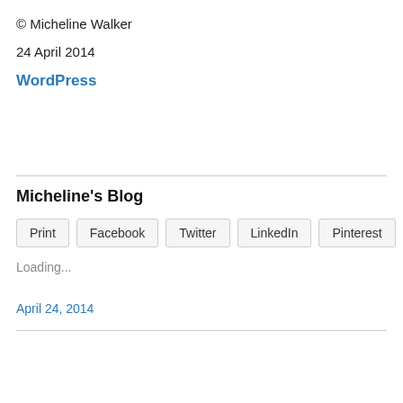© Micheline Walker
24 April 2014
WordPress
Micheline's Blog
Print | Facebook | Twitter | LinkedIn | Pinterest
Loading...
April 24, 2014